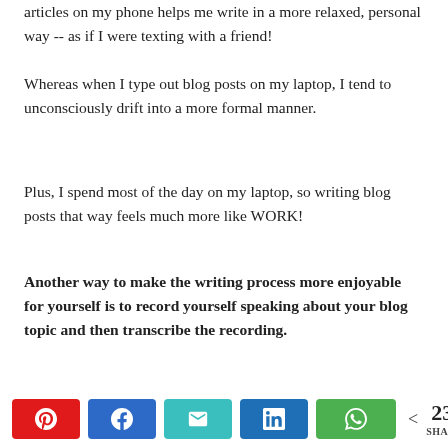articles on my phone helps me write in a more relaxed, personal way -- as if I were texting with a friend!
Whereas when I type out blog posts on my laptop, I tend to unconsciously drift into a more formal manner.
Plus, I spend most of the day on my laptop, so writing blog posts that way feels much more like WORK!
Another way to make the writing process more enjoyable for yourself is to record yourself speaking about your blog topic and then transcribe the recording.
[Figure (infographic): Social share bar with Pinterest (red), Facebook (blue), Email (teal), LinkedIn (blue), WhatsApp (green) buttons, and a share count showing < 230 SHARES]